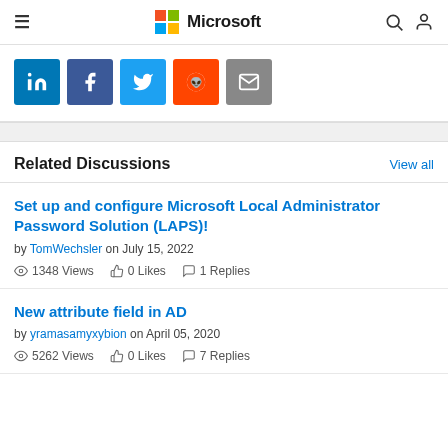Microsoft
[Figure (infographic): Social share buttons: LinkedIn, Facebook, Twitter, Reddit, Email]
Related Discussions
View all
Set up and configure Microsoft Local Administrator Password Solution (LAPS)!
by TomWechsler on July 15, 2022
1348 Views   0 Likes   1 Replies
New attribute field in AD
by yramasamyxybion on April 05, 2020
5262 Views   0 Likes   7 Replies